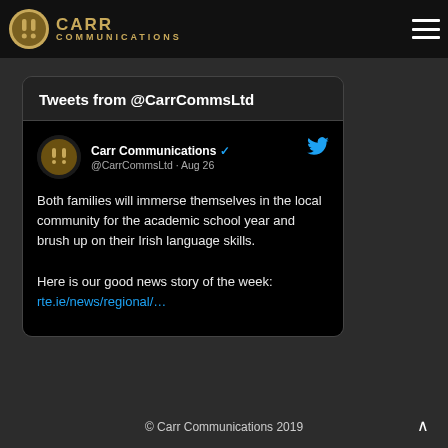Carr Communications — OUR TWITTER
Tweets from @CarrCommsLtd
Carr Communications @CarrCommsLtd · Aug 26
Both families will immerse themselves in the local community for the academic school year and brush up on their Irish language skills.

Here is our good news story of the week:
rte.ie/news/regional/…
© Carr Communications 2019